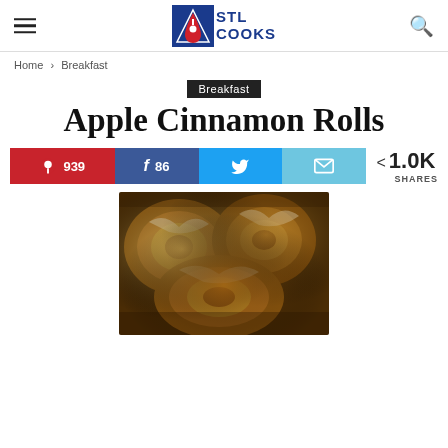STL COOKS
Home › Breakfast
Breakfast
Apple Cinnamon Rolls
Pinterest 939 | Facebook 86 | Twitter | Email | 1.0K SHARES
[Figure (photo): Close-up photo of Apple Cinnamon Rolls with glaze on top]